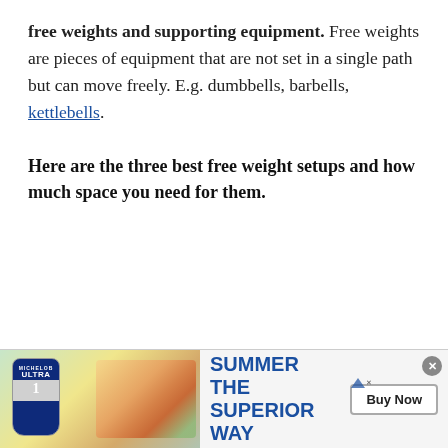free weights and supporting equipment. Free weights are pieces of equipment that are not set in a single path but can move freely. E.g. dumbbells, barbells, kettlebells.
Here are the three best free weight setups and how much space you need for them.
[Figure (infographic): Advertisement banner for Michelob Ultra beer. Shows beer bottle/can with label on left, burger and food imagery, text 'SUMMER THE SUPERIOR WAY' in blue, and a 'Buy Now' button on the right.]